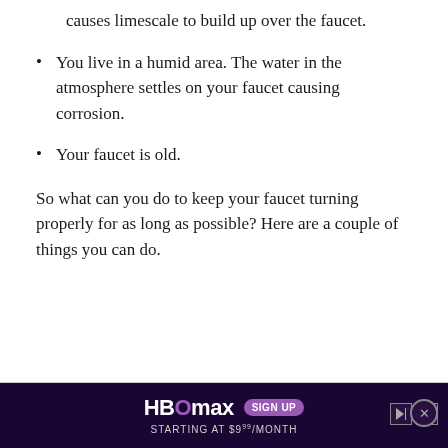causes limescale to build up over the faucet.
You live in a humid area. The water in the atmosphere settles on your faucet causing corrosion.
Your faucet is old.
So what can you do to keep your faucet turning properly for as long as possible? Here are a couple of things you can do.
[Figure (other): HBO Max advertisement banner: dark purple background, HBO Max logo with SIGN UP badge, text STARTING AT $9.99/MONTH, play and close controls]